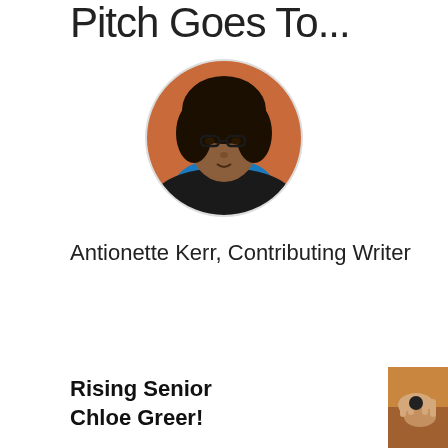Pitch Goes To...
[Figure (photo): Circular headshot photo of Antionette Kerr, a woman with glasses and dark wavy hair wearing a blue scarf and black jacket]
Antionette Kerr, Contributing Writer
Rising Senior Chloe Greer!
[Figure (photo): Photo of hands holding a small object, warm orange/amber background tones]